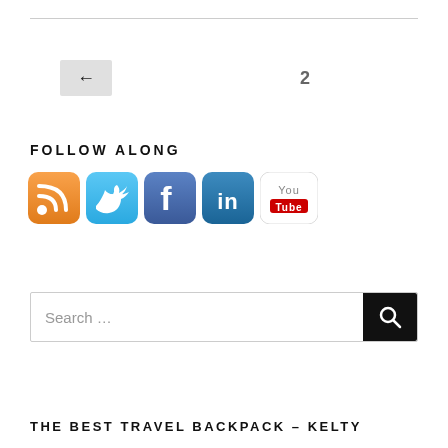[Figure (infographic): Navigation back button with left arrow and page number 2]
FOLLOW ALONG
[Figure (infographic): Row of social media icons: RSS feed (orange), Twitter (blue bird), Facebook (blue f), LinkedIn (blue in), YouTube (white with red YouTube logo)]
[Figure (screenshot): Search bar with placeholder text 'Search ...' and a black search button with magnifying glass icon]
THE BEST TRAVEL BACKPACK – KELTY